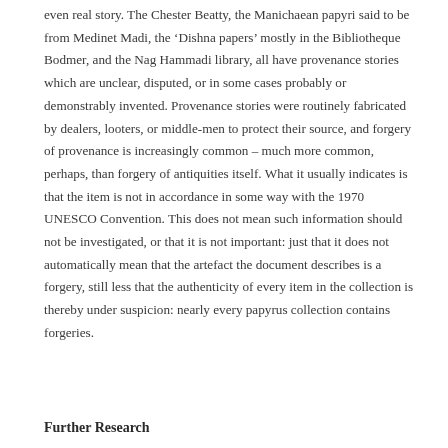even real story. The Chester Beatty, the Manichaean papyri said to be from Medinet Madi, the 'Dishna papers' mostly in the Bibliotheque Bodmer, and the Nag Hammadi library, all have provenance stories which are unclear, disputed, or in some cases probably or demonstrably invented. Provenance stories were routinely fabricated by dealers, looters, or middle-men to protect their source, and forgery of provenance is increasingly common – much more common, perhaps, than forgery of antiquities itself. What it usually indicates is that the item is not in accordance in some way with the 1970 UNESCO Convention. This does not mean such information should not be investigated, or that it is not important: just that it does not automatically mean that the artefact the document describes is a forgery, still less that the authenticity of every item in the collection is thereby under suspicion: nearly every papyrus collection contains forgeries.
Further Research